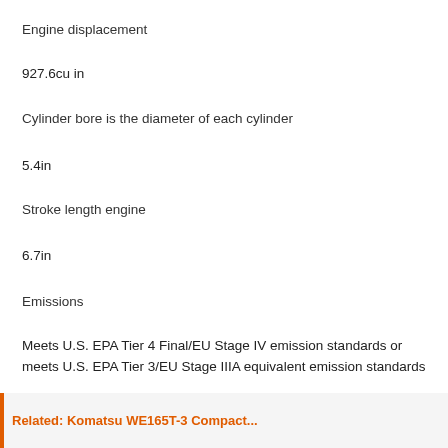Engine displacement
927.6cu in
Cylinder bore is the diameter of each cylinder
5.4in
Stroke length engine
6.7in
Emissions
Meets U.S. EPA Tier 4 Final/EU Stage IV emission standards or meets U.S. EPA Tier 3/EU Stage IIIA equivalent emission standards